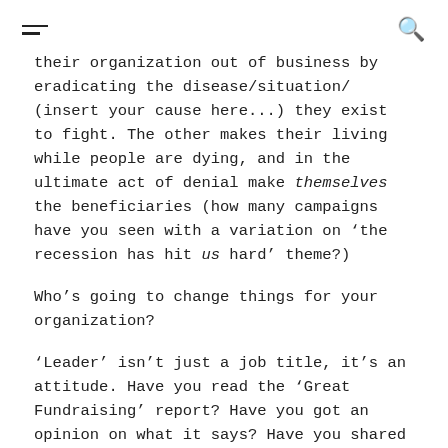≡  🔍
their organization out of business by eradicating the disease/situation/ (insert your cause here...) they exist to fight. The other makes their living while people are dying, and in the ultimate act of denial make themselves the beneficiaries (how many campaigns have you seen with a variation on 'the recession has hit us hard' theme?)
Who's going to change things for your organization?
'Leader' isn't just a job title, it's an attitude. Have you read the 'Great Fundraising' report? Have you got an opinion on what it says? Have you shared it with your colleagues?